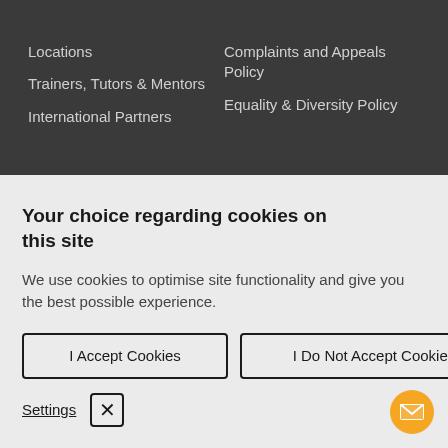Locations | Trainers, Tutors & Mentors | International Partners | Complaints and Appeals Policy | Equality & Diversity Policy
Your choice regarding cookies on this site
We use cookies to optimise site functionality and give you the best possible experience.
I Accept Cookies
I Do Not Accept Cookies
Settings